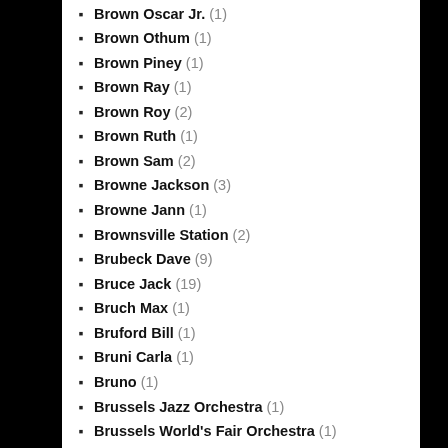Brown Oscar Jr. (1)
Brown Othum (1)
Brown Piney (1)
Brown Ray (1)
Brown Roy (2)
Brown Ruth (1)
Brown Sam (2)
Browne Jackson (3)
Browne Jann (1)
Brownsville Station (2)
Brubeck Dave (9)
Bruce Jack (19)
Bruch Max (1)
Bruford Bill (1)
Bruni Carla (1)
Bruno (1)
Brussels Jazz Orchestra (1)
Brussels World's Fair Orchestra (1)
Bryant Jimmy (2)
Bryant Precious (1)
Bryn Terfel & Malcolm Martineau (1)
Bubbling Over Five (1)